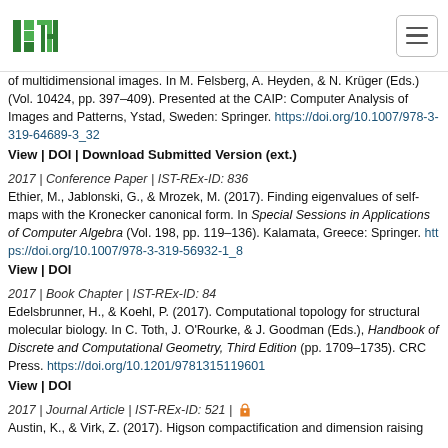ISTA logo and navigation
of multidimensional images. In M. Felsberg, A. Heyden, & N. Krüger (Eds.) (Vol. 10424, pp. 397–409). Presented at the CAIP: Computer Analysis of Images and Patterns, Ystad, Sweden: Springer. https://doi.org/10.1007/978-3-319-64689-3_32
View | DOI | Download Submitted Version (ext.)
2017 | Conference Paper | IST-REx-ID: 836
Ethier, M., Jablonski, G., & Mrozek, M. (2017). Finding eigenvalues of self-maps with the Kronecker canonical form. In Special Sessions in Applications of Computer Algebra (Vol. 198, pp. 119–136). Kalamata, Greece: Springer. https://doi.org/10.1007/978-3-319-56932-1_8
View | DOI
2017 | Book Chapter | IST-REx-ID: 84
Edelsbrunner, H., & Koehl, P. (2017). Computational topology for structural molecular biology. In C. Toth, J. O'Rourke, & J. Goodman (Eds.), Handbook of Discrete and Computational Geometry, Third Edition (pp. 1709–1735). CRC Press. https://doi.org/10.1201/9781315119601
View | DOI
2017 | Journal Article | IST-REx-ID: 521 | [open access]
Austin, K., & Virk, Z. (2017). Higson compactification and dimension raising